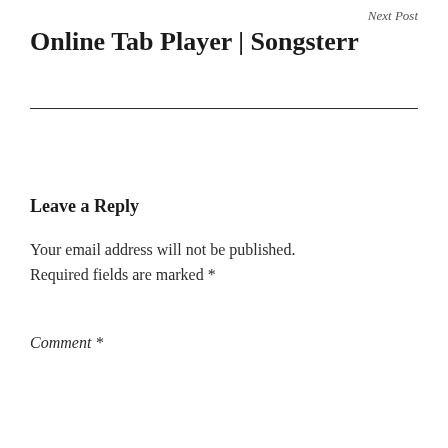Next Post
Online Tab Player | Songsterr
Leave a Reply
Your email address will not be published. Required fields are marked *
Comment *